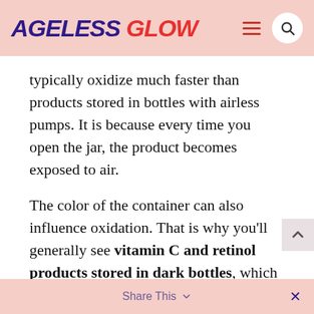AGELESS GLOW
typically oxidize much faster than products stored in bottles with airless pumps. It is because every time you open the jar, the product becomes exposed to air.
The color of the container can also influence oxidation. That is why you'll generally see vitamin C and retinol products stored in dark bottles, which can help protect them from light.
Share This